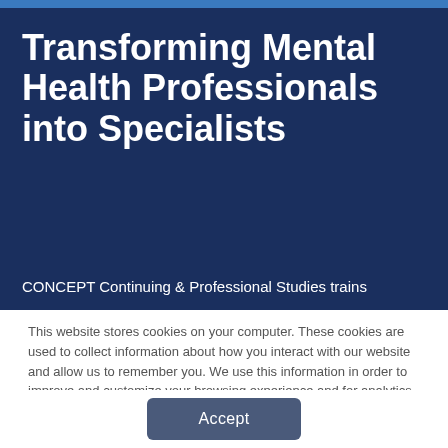Transforming Mental Health Professionals into Specialists
CONCEPT Continuing & Professional Studies trains
This website stores cookies on your computer. These cookies are used to collect information about how you interact with our website and allow us to remember you. We use this information in order to improve and customize your browsing experience and for analytics and metrics about our visitors both on this website and other media. To find out more about the cookies we use, see our Privacy Policy
Accept